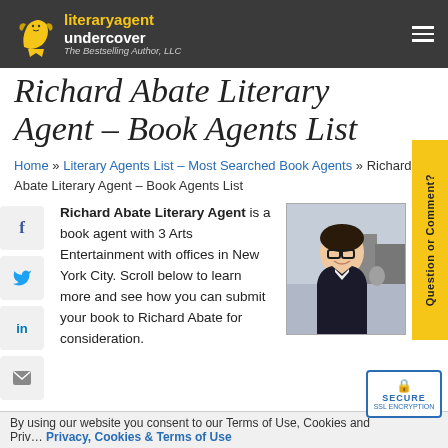literary agent undercover – The Bestselling Author, LLC
Richard Abate Literary Agent – Book Agents List
Home » Literary Agents List – Most Searched Book Agents » Richard Abate Literary Agent – Book Agents List
Richard Abate Literary Agent is a book agent with 3 Arts Entertainment with offices in New York City. Scroll below to learn more and see how you can submit your book to Richard Abate for consideration.
[Figure (photo): Headshot photo of Richard Abate, a literary agent at 3 Arts Entertainment]
By using our website you consent to our Terms of Use, Cookies and Privacy...
Privacy, Cookies & Terms of Use